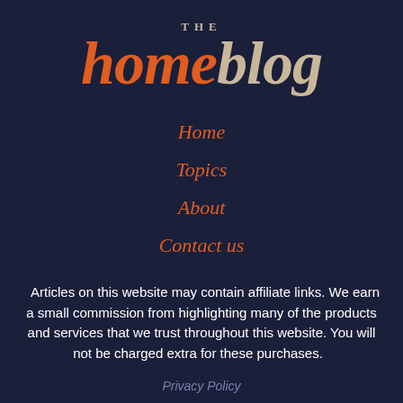THE homeblog
Home
Topics
About
Contact us
Articles on this website may contain affiliate links. We earn a small commission from highlighting many of the products and services that we trust throughout this website. You will not be charged extra for these purchases.
Privacy Policy